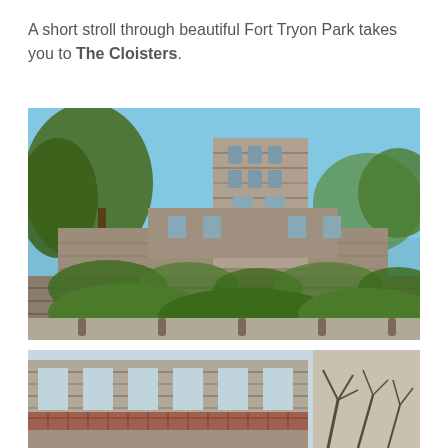A short stroll through beautiful Fort Tryon Park takes you to The Cloisters.
[Figure (photo): Exterior photograph of The Cloisters museum — a medieval-style stone building with a tall square tower, arched windows and doorways, surrounded by trees and greenery under a clear blue sky. A stone retaining wall with ivy runs along the front.]
[Figure (photo): Partial exterior view of The Cloisters museum showing the lower portion of the stone building facade with arched windows and a tiled roof, with bare trees visible on the right side.]